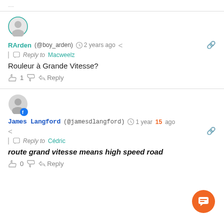RArden (@boy_arden) · 2 years ago | Reply to Macweelz
Rouleur à Grande Vitesse?
👍 1 👎 ↪ Reply
James Langford (@jamesdlangford) · 1 year ago | Reply to Cédric
route grand vitesse means high speed road
👍 0 👎 ↪ Reply